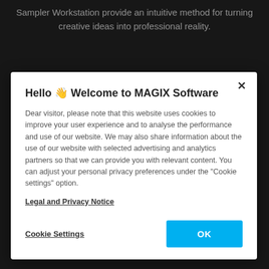Sampler Workstation provide an intuitive method for turning creative ideas into professional reality.
[Figure (screenshot): Cookie consent dialog overlay on MAGIX Software website]
Hello 🎉 Welcome to MAGIX Software
Dear visitor, please note that this website uses cookies to improve your user experience and to analyse the performance and use of our website. We may also share information about the use of our website with selected advertising and analytics partners so that we can provide you with relevant content. You can adjust your personal privacy preferences under the "Cookie settings" option.
Legal and Privacy Notice
Cookie Settings
OK